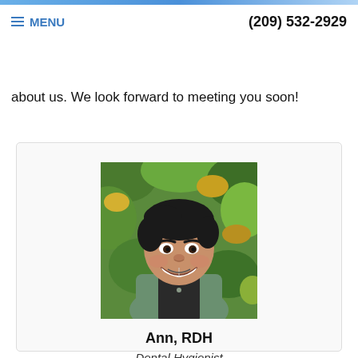MENU | (209) 532-2929
accreditation and pursue ongoing education to stay abreast of the latest trends in the dental field. Read on to learn more about us. We look forward to meeting you soon!
[Figure (photo): Headshot of Ann, RDH, a smiling woman with short dark hair wearing a green jacket, photographed outdoors with green foliage in the background.]
Ann, RDH
Dental Hygienist
Bio coming soon.